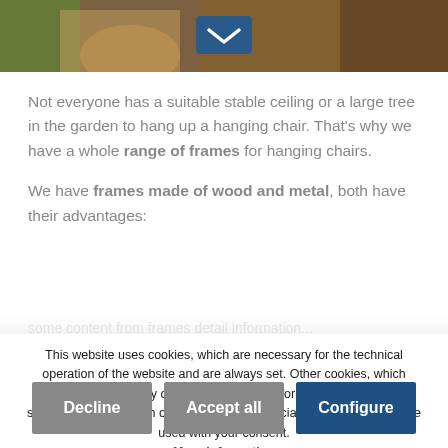[Figure (photo): Partial view of wooden hanging chairs on a deck/patio, with a chevron/down-arrow button overlay in dark blue]
Not everyone has a suitable stable ceiling or a large tree in the garden to hang up a hanging chair. That's why we have a whole range of frames for hanging chairs.
We have frames made of wood and metal, both have their advantages:
This website uses cookies, which are necessary for the technical operation of the website and are always set. Other cookies, which increase the usability of this website, serve for direct advertising or simplify interaction with other websites and social networks, will only be used with your consent. More information